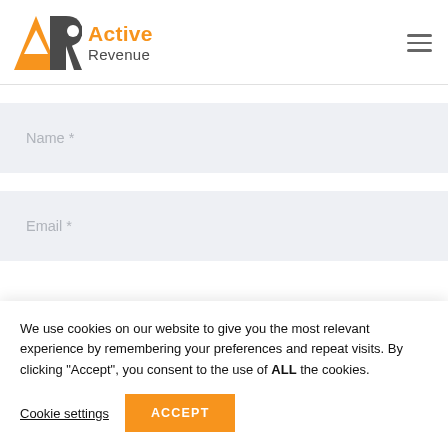[Figure (logo): Active Revenue logo with orange triangle/AR icon and company name]
Name *
Email *
We use cookies on our website to give you the most relevant experience by remembering your preferences and repeat visits. By clicking “Accept”, you consent to the use of ALL the cookies.
Cookie settings
ACCEPT